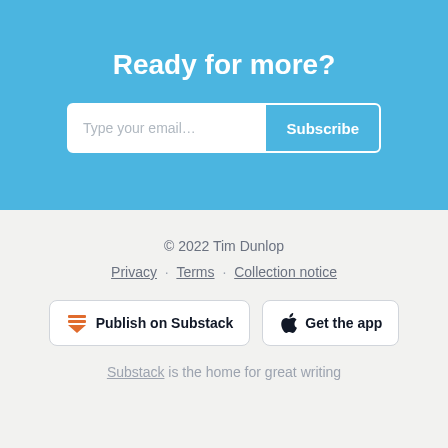Ready for more?
Type your email... Subscribe
© 2022 Tim Dunlop
Privacy · Terms · Collection notice
Publish on Substack
Get the app
Substack is the home for great writing